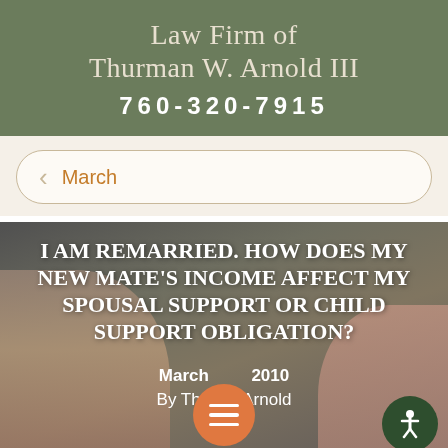Law Firm of Thurman W. Arnold III
760-320-7915
March
[Figure (photo): Blurred photo of a smiling family (man, woman, child) used as background for article header block, with overlaid bold white text: 'I AM REMARRIED. HOW DOES MY NEW MATE'S INCOME AFFECT MY SPOUSAL SUPPORT OR CHILD SUPPORT OBLIGATION?' and metadata 'March 2010' and 'By Thurman Arnold'. An orange hamburger menu button and a dark green accessibility icon are overlaid on the bottom.]